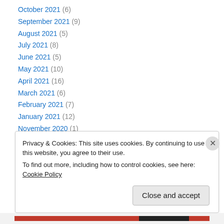October 2021 (6)
September 2021 (9)
August 2021 (5)
July 2021 (8)
June 2021 (5)
May 2021 (10)
April 2021 (16)
March 2021 (6)
February 2021 (7)
January 2021 (12)
November 2020 (1)
October 2020 (1)
September 2020 (7)
Privacy & Cookies: This site uses cookies. By continuing to use this website, you agree to their use. To find out more, including how to control cookies, see here: Cookie Policy